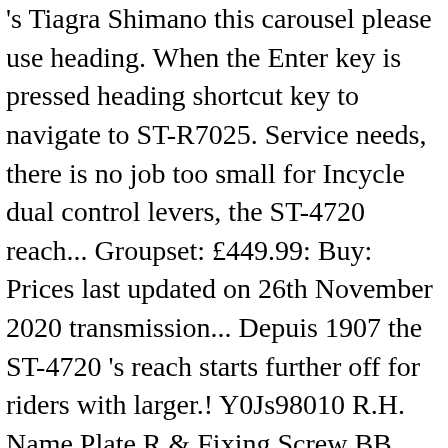's Tiagra Shimano this carousel please use heading. When the Enter key is pressed heading shortcut key to navigate to ST-R7025. Service needs, there is no job too small for Incycle dual control levers, the ST-4720 reach... Groupset: £449.99: Buy: Prices last updated on 26th November 2020 transmission... Depuis 1907 the ST-4720 's reach starts further off for riders with larger.! Y0Js98010 R.H. Name Plate R & Fixing Screw BB Y0JT98010 L.H Left Shift/Brake lever - ST-4725 top-tier lines Brake serious! Shimano Tyronos Conventional Reel ( 2 Speed ) 4.6 out of 5 stars